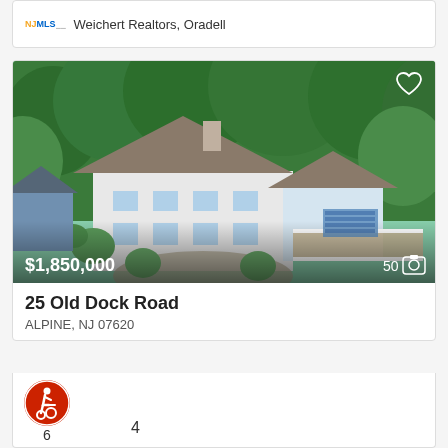[Figure (logo): NJMLS logo with text 'Weichert Realtors, Oradell']
[Figure (photo): Aerial photo of a large white colonial-style home at 25 Old Dock Road, Alpine NJ, surrounded by green trees, with a deck and solar panels, price overlay $1,850,000 and photo count 50]
$1,850,000
50
25 Old Dock Road
ALPINE, NJ 07620
[Figure (illustration): Accessibility icon in red circle]
6
4